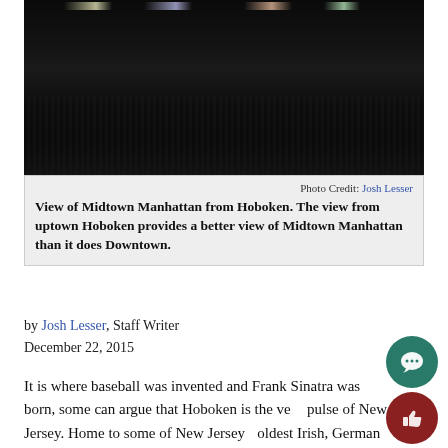[Figure (photo): Night photograph of water reflections, likely the Hudson River, with city lights reflecting on the dark water surface. View of Midtown Manhattan from Hoboken at night.]
Photo Credit: Josh Lesser
View of Midtown Manhattan from Hoboken. The view from uptown Hoboken provides a better view of Midtown Manhattan than it does Downtown.
by Josh Lesser, Staff Writer
December 22, 2015
It is where baseball was invented and Frank Sinatra was born, some can argue that Hoboken is the very pulse of New Jersey. Home to some of New Jersey's oldest Irish, German and Italian communities, Hoboken has undergone a major change from the industrial